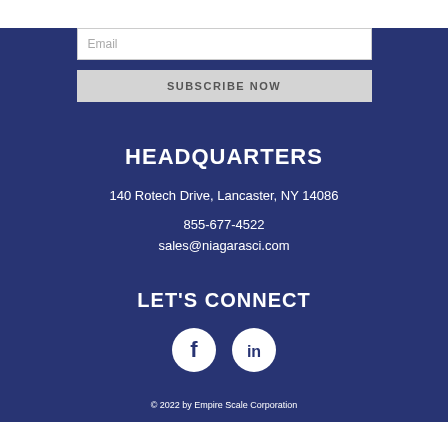[Figure (other): Email input field with placeholder text 'Email']
[Figure (other): Subscribe Now button with gray background]
HEADQUARTERS
140 Rotech Drive, Lancaster, NY 14086
855-677-4522
sales@niagarasci.com
LET'S CONNECT
[Figure (illustration): Facebook and LinkedIn social media icons (white circles with logos on navy background)]
© 2022 by Empire Scale Corporation